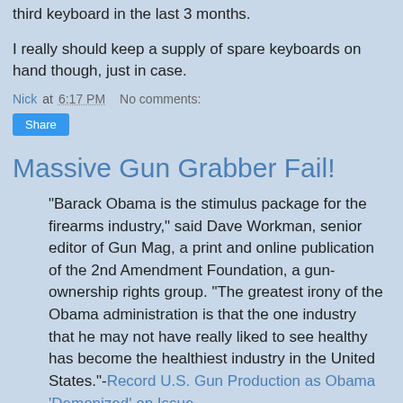third keyboard in the last 3 months.
I really should keep a supply of spare keyboards on hand though, just in case.
Nick at 6:17 PM    No comments:
Share
Massive Gun Grabber Fail!
“Barack Obama is the stimulus package for the firearms industry,” said Dave Workman, senior editor of Gun Mag, a print and online publication of the 2nd Amendment Foundation, a gun-ownership rights group. “The greatest irony of the Obama administration is that the one industry that he may not have really liked to see healthy has become the healthiest industry in the United States.”-Record U.S. Gun Production as Obama ‘Demonized’ on Issue